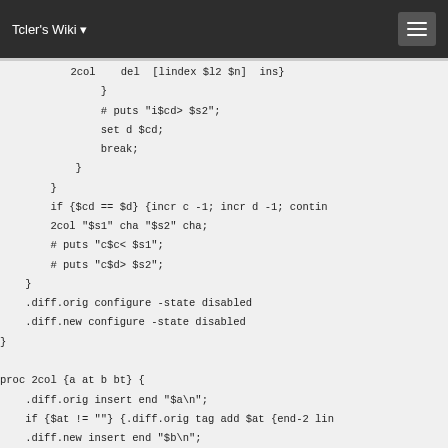Tcler's Wiki
2col    del  [lindex $l2 $n]  ins}
                    }
                    # puts "i$cd> $s2";
                    set d $cd;
                    break;
                }
            }
            if {$cd == $d} {incr c -1; incr d -1; contin
            2col "$s1" cha "$s2" cha;
            # puts "c$c< $s1";
            # puts "c$d> $s2";
        }
    .diff.orig configure -state disabled
    .diff.new configure -state disabled
}

proc 2col {a at b bt} {
    .diff.orig insert end "$a\n";
    if {$at != ""} {.diff.orig tag add $at {end-2 lin
    .diff.new insert end "$b\n";
    if {$bt != ""} {.diff.new tag add $bt {end-2 line
}